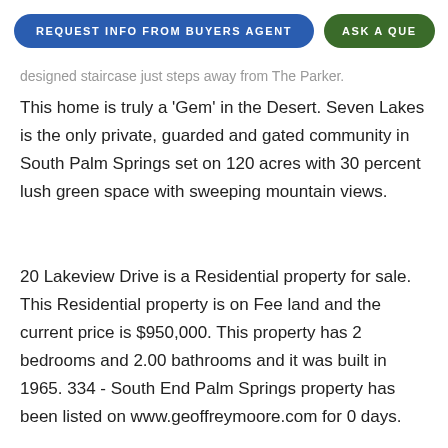REQUEST INFO FROM BUYERS AGENT | ASK A QUE...
designed staircase just steps away from The Parker.
This home is truly a 'Gem' in the Desert. Seven Lakes is the only private, guarded and gated community in South Palm Springs set on 120 acres with 30 percent lush green space with sweeping mountain views.
20 Lakeview Drive is a Residential property for sale. This Residential property is on Fee land and the current price is $950,000. This property has 2 bedrooms and 2.00 bathrooms and it was built in 1965. 334 - South End Palm Springs property has been listed on www.geoffreymoore.com for 0 days.